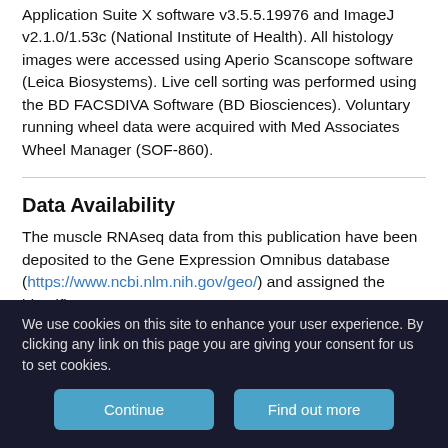Application Suite X software v3.5.5.19976 and ImageJ v2.1.0/1.53c (National Institute of Health). All histology images were accessed using Aperio Scanscope software (Leica Biosystems). Live cell sorting was performed using the BD FACSDIVA Software (BD Biosciences). Voluntary running wheel data were acquired with Med Associates Wheel Manager (SOF-860).
Data Availability
The muscle RNAseq data from this publication have been deposited to the Gene Expression Omnibus database (https://www.ncbi.nlm.nih.gov/geo/) and assigned the identifier GSE188803.
We use cookies on this site to enhance your user experience. By clicking any link on this page you are giving your consent for us to set cookies.